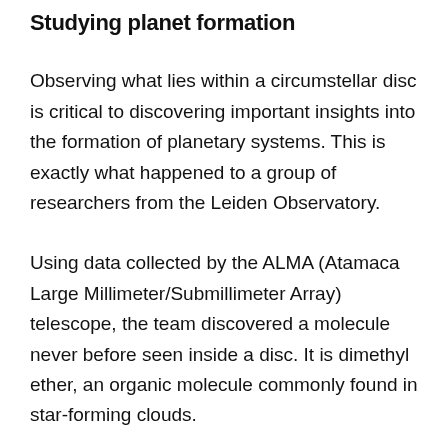Studying planet formation
Observing what lies within a circumstellar disc is critical to discovering important insights into the formation of planetary systems. This is exactly what happened to a group of researchers from the Leiden Observatory.
Using data collected by the ALMA (Atamaca Large Millimeter/Submillimeter Array) telescope, the team discovered a molecule never before seen inside a disc. It is dimethyl ether, an organic molecule commonly found in star-forming clouds.
Astronomers discovered the largest molecule in the disc of a star